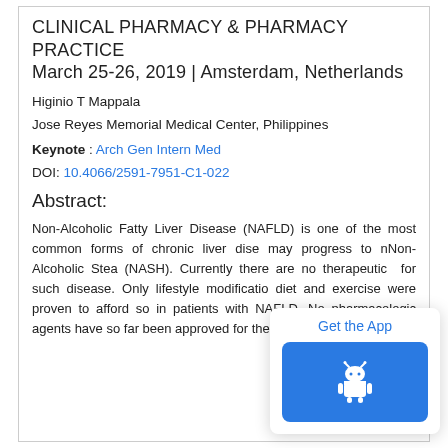CLINICAL PHARMACY & PHARMACY PRACTICE
March 25-26, 2019 | Amsterdam, Netherlands
Higinio T Mappala
Jose Reyes Memorial Medical Center, Philippines
Keynote : Arch Gen Intern Med
DOI: 10.4066/2591-7951-C1-022
Abstract:
Non-Alcoholic Fatty Liver Disease (NAFLD) is one of the most common forms of chronic liver dise… may progress to nNon-Alcoholic Stea… (NASH). Currently there are no therapeutic … for such disease. Only lifestyle modificatio… diet and exercise were proven to afford so… in patients with NAFLD. No pharmacologic agents have so far been approved for the treatment of NAFLD or
[Figure (other): Get the App popup with Android app icon button]